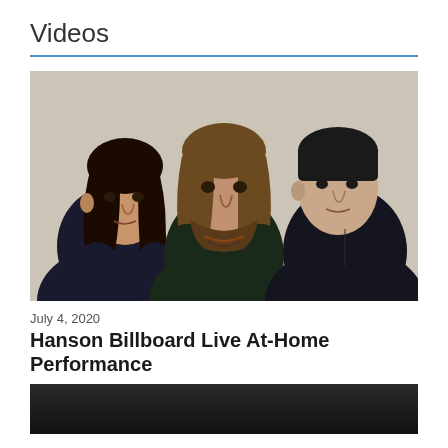Videos
[Figure (photo): Three adult men posing together against a light textured wall. The man on the left has dark long hair tied back and wears a dark leather jacket. The man in the center has medium-length brown wavy hair, a beard, wears a dark shirt with beaded necklaces, and has his arms crossed. The man on the right has short dark hair and wears a dark button-up shirt.]
July 4, 2020
Hanson Billboard Live At-Home Performance
[Figure (photo): Partially visible bottom image showing dark background, likely a performance or instrument scene.]